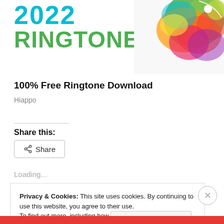[Figure (illustration): Colorful abstract splash/paint cloud illustration in top-right corner of banner, with green, orange, pink, yellow hues and a small white dot]
2022
RINGTONE
100% Free Ringtone Download
Hiappo
Share this:
Share
Loading...
Privacy & Cookies: This site uses cookies. By continuing to use this website, you agree to their use.
To find out more, including how to control cookies, see here: Cookie Policy
Close and accept